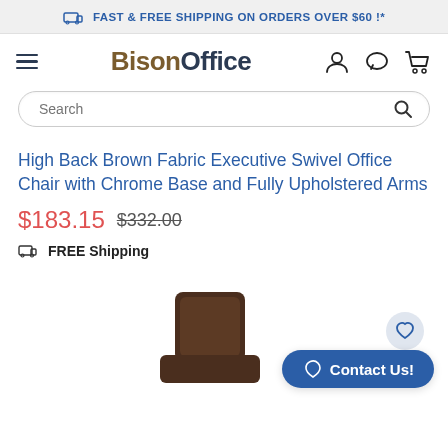FAST & FREE SHIPPING ON ORDERS OVER $60 !*
[Figure (logo): BisonOffice logo with hamburger menu and nav icons (user, chat, cart)]
Search
High Back Brown Fabric Executive Swivel Office Chair with Chrome Base and Fully Upholstered Arms
$183.15 $332.00
FREE Shipping
[Figure (photo): Partial view of a high back brown fabric executive office chair]